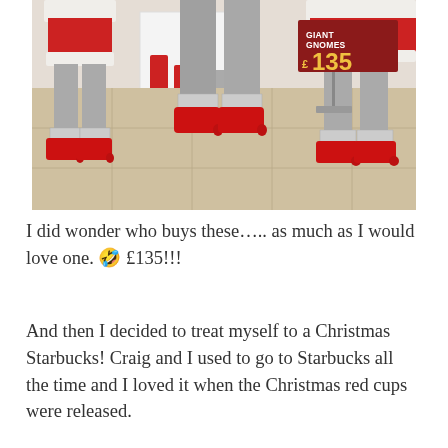[Figure (photo): Store display with mannequins wearing Santa costumes (red and white trim, grey leggings) and bright red slippers/boots. A price sign on a metal stand reads 'GIANT GNOMES £135' in a dark red background with gold lettering. The floor is beige tile. Background shows white shelving unit.]
I did wonder who buys these….. as much as I would love one. 🤣 £135!!!
And then I decided to treat myself to a Christmas Starbucks! Craig and I used to go to Starbucks all the time and I loved it when the Christmas red cups were released.